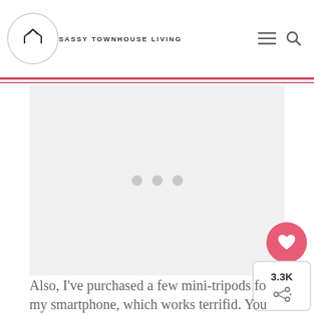SASSY TOWNHOUSE LIVING
[Figure (screenshot): Ad or image placeholder with three gray dots in the center on a light gray background]
Also, I've purchased a few mini-tripods for my smartphone, which works terrifid. You